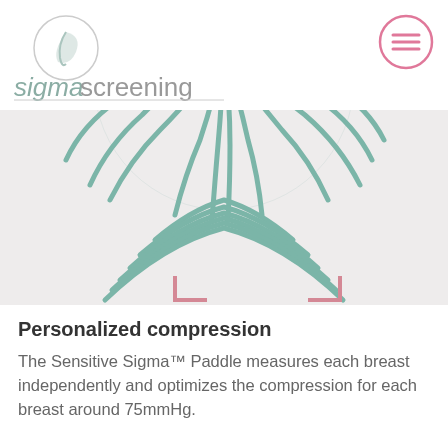[Figure (logo): Sigma Screening logo with circular icon containing a leaf/spiral shape, and text 'sigmascreening' below]
[Figure (illustration): Decorative illustration of abstract feather/wave lines in muted teal/sage green color, arranged in a breast-like silhouette pattern, on a light grey background with pink corner bracket marks]
[Figure (logo): Pink circular menu/hamburger icon button in top right corner]
Personalized compression
The Sensitive Sigma™ Paddle measures each breast independently and optimizes the compression for each breast around 75mmHg.